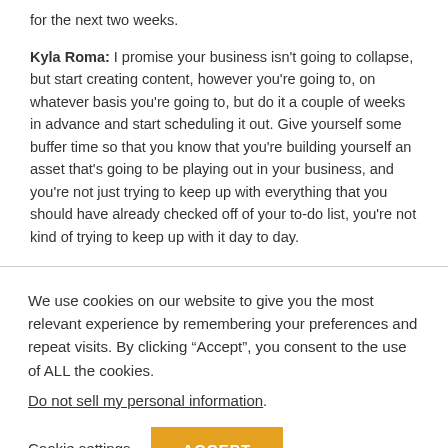for the next two weeks.
Kyla Roma: I promise your business isn't going to collapse, but start creating content, however you're going to, on whatever basis you're going to, but do it a couple of weeks in advance and start scheduling it out. Give yourself some buffer time so that you know that you're building yourself an asset that's going to be playing out in your business, and you're not just trying to keep up with everything that you should have already checked off of your to-do list, you're not kind of trying to keep up with it day to day.
We use cookies on our website to give you the most relevant experience by remembering your preferences and repeat visits. By clicking “Accept”, you consent to the use of ALL the cookies.
Do not sell my personal information.
Cookie settings
ACCEPT